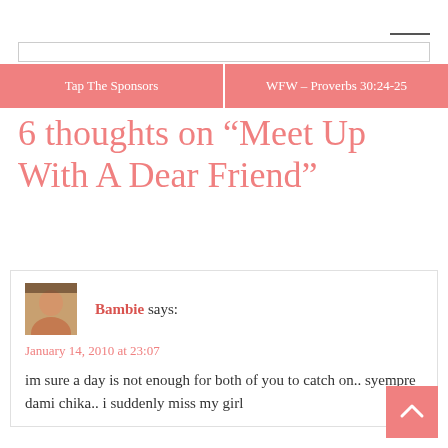[Figure (other): Horizontal line decoration near top right]
[Figure (other): Search/input bar element]
Tap The Sponsors | WFW – Proverbs 30:24-25
6 thoughts on “Meet Up With A Dear Friend”
Bambie says:
January 14, 2010 at 23:07
im sure a day is not enough for both of you to catch on.. syempre dami chika.. i suddenly miss my girl